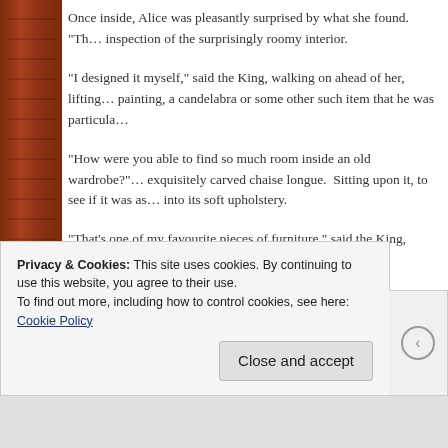Once inside, Alice was pleasantly surprised by what she found.  "Th... inspection of the surprisingly roomy interior.
“I designed it myself,” said the King, walking on ahead of her, lifting... painting, a candelabra or some other such item that he was particul...
“How were you able to find so much room inside an old wardrobe?”... exquisitely carved chaise longue.  Sitting upon it, to see if it was as... into its soft upholstery.
“That’s one of my favourite pieces of furniture,” said the King, sitting... rich, red and gold fabric.
Wondering why the King would want to have such a splendid interio... “This wardrobe is as good as a palace.”
Privacy & Cookies: This site uses cookies. By continuing to use this website, you agree to their use.
To find out more, including how to control cookies, see here: Cookie Policy
Close and accept